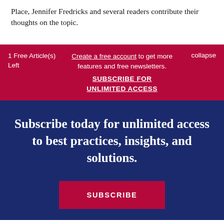Place, Jennifer Fredricks and several readers contribute their thoughts on the topic.
1 Free Article(s) Left
Create a free account to get more features and free newsletters. SUBSCRIBE FOR UNLIMITED ACCESS
collapse
Subscribe today for unlimited access to best practices, insights, and solutions.
SUBSCRIBE